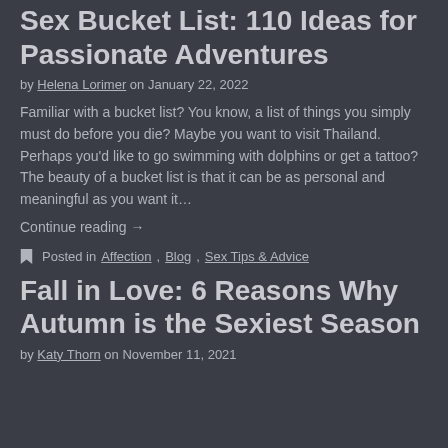Sex Bucket List: 110 Ideas for Passionate Adventures
by Helena Lorimer on January 22, 2022
Familiar with a bucket list? You know, a list of things you simply must do before you die? Maybe you want to visit Thailand. Perhaps you'd like to go swimming with dolphins or get a tattoo? The beauty of a bucket list is that it can be as personal and meaningful as you want it…
Continue reading →
Posted in Affection, Blog, Sex Tips & Advice
Fall in Love: 6 Reasons Why Autumn is the Sexiest Season
by Katy Thorn on November 11, 2021